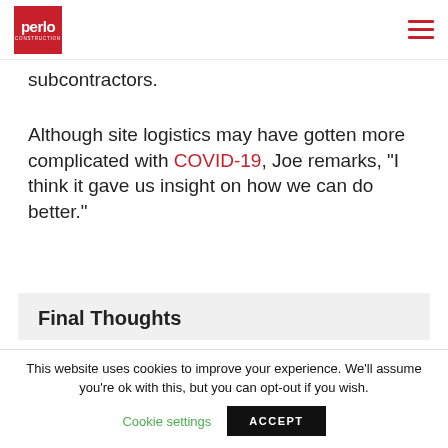perlo CONSTRUCTION
subcontractors.
Although site logistics may have gotten more complicated with COVID-19, Joe remarks, “I think it gave us insight on how we can do better.”
Final Thoughts
This website uses cookies to improve your experience. We’ll assume you’re ok with this, but you can opt-out if you wish.
Cookie settings  ACCEPT